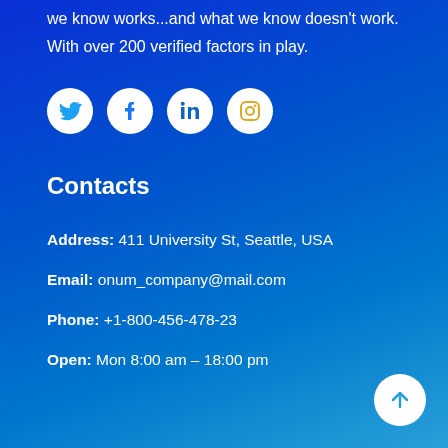we know works...and what we know doesn't work. With over 200 verified factors in play.
[Figure (illustration): Social media icons: Twitter (blue), Facebook (blue), LinkedIn (blue), Instagram (orange outline)]
Contacts
Address: 411 University St, Seattle, USA
Email: onum_company@mail.com
Phone: +1-800-456-478-23
Open: Mon 8:00 am – 18:00 pm